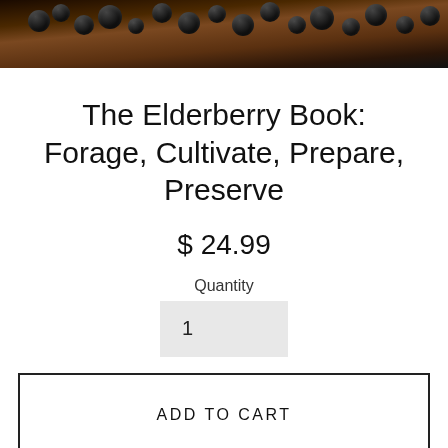[Figure (photo): Close-up photo of dark elderberries on a wooden surface]
The Elderberry Book: Forage, Cultivate, Prepare, Preserve
$ 24.99
Quantity
1
ADD TO CART